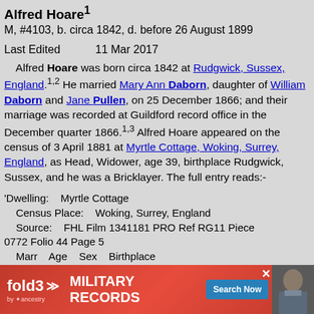Alfred Hoare¹
M, #4103, b. circa 1842, d. before 26 August 1899
Last Edited    11 Mar 2017
Alfred Hoare was born circa 1842 at Rudgwick, Sussex, England.¹·² He married Mary Ann Daborn, daughter of William Daborn and Jane Pullen, on 25 December 1866; and their marriage was recorded at Guildford record office in the December quarter 1866.¹·³ Alfred Hoare appeared on the census of 3 April 1881 at Myrtle Cottage, Woking, Surrey, England, as Head, Widower, age 39, birthplace Rudgwick, Sussex, and he was a Bricklayer. The full entry reads:-
'Dwelling:    Myrtle Cottage
    Census Place:    Woking, Surrey, England
    Source:    FHL Film 1341181 PRO Ref RG11 Piece 0772 Folio 44 Page 5
    Marr    Age    Sex    Birthplace
Alfred HOARE    W    39    M    Rudgwick, Sussex, England
    Rel:
    Occ:
[Figure (other): Advertisement overlay for fold3 Military Records by Ancestry with Search Now button]